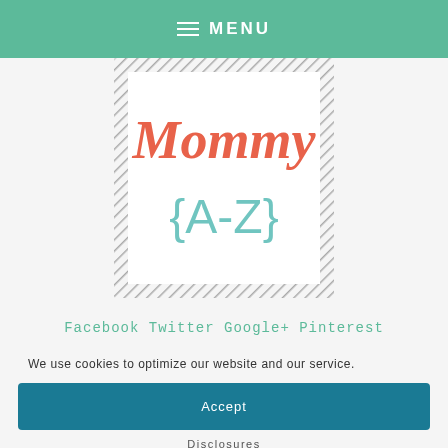MENU
[Figure (logo): Mommy A-Z logo with decorative hatched border. 'Mommy' in coral/orange script font on top, '{A-Z}' in teal/mint below in a large display font.]
Facebook Twitter Google+ Pinterest
We use cookies to optimize our website and our service.
Accept
Disclosures